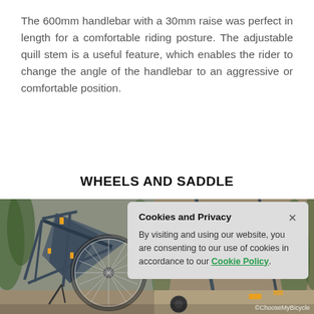The 600mm handlebar with a 30mm raise was perfect in length for a comfortable riding posture. The adjustable quill stem is a useful feature, which enables the rider to change the angle of the handlebar to an aggressive or comfortable position.
WHEELS AND SADDLE
[Figure (photo): A dark blue bicycle leaning with wheel visible on left side and a black saddle on the right side, with tropical plants in the background. Watermark: ©ChooseMyBicycle]
Cookies and Privacy
By visiting and using our website, you are consenting to our use of cookies in accordance to our Cookie Policy.